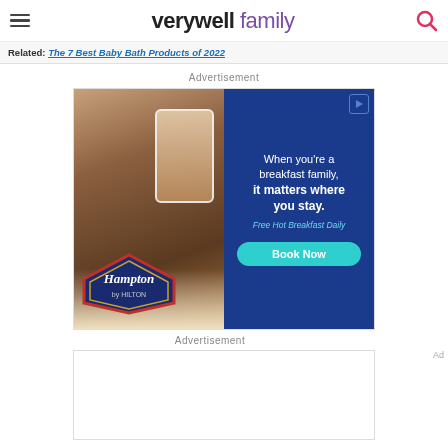verywell family
Related: The 7 Best Baby Bath Products of 2022
Advertisement
[Figure (photo): Hampton by Hilton advertisement showing a man taking a photo on a phone, a child eating breakfast, with text: When you're a breakfast family, it matters where you stay. Free Hot Breakfast Daily. Book Now.]
Advertisement
[Figure (photo): Hampton by Hilton small banner ad: When you're a breakfast family, it matters where you stay. Free Hot Breakfast Daily. Book Now.]